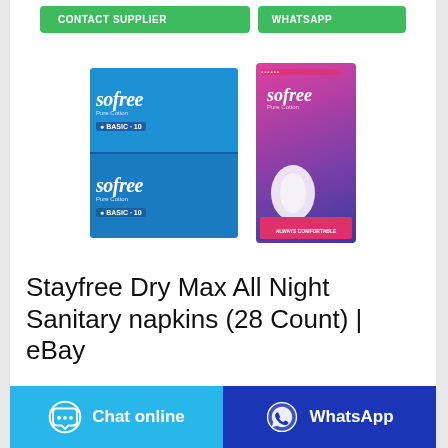[Figure (screenshot): Two green buttons: CONTACT SUPPLIER and WHATSAPP at top of page]
[Figure (photo): Product images: two stacked blue Sofree Pure Cotton sanitary napkin packs (10 count each) on left, one pink/purple Sofree Pure Cotton pack on right]
Stayfree Dry Max All Night Sanitary napkins (28 Count) | eBay
[Figure (screenshot): Bottom bar with Chat online button (light blue) and WhatsApp button (dark blue)]